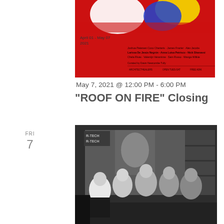[Figure (illustration): Exhibition poster with colorful abstract blob (red, yellow, blue, white) on red background. Shows dates April 01 - May 07 2021 and artist names. Text includes 'Curated by Dawn Newcombe Tully'. Red background with small printed text listing artists and venue info.]
May 7, 2021 @ 12:00 PM - 6:00 PM
"ROOF ON FIRE" Closing
FRI
7
[Figure (photo): Black and white photograph of a group of people (approximately 5-6 individuals) sitting together in what appears to be an art studio or workshop space. Signs reading 'R-TECH' visible in background. People are casually posed, smiling.]